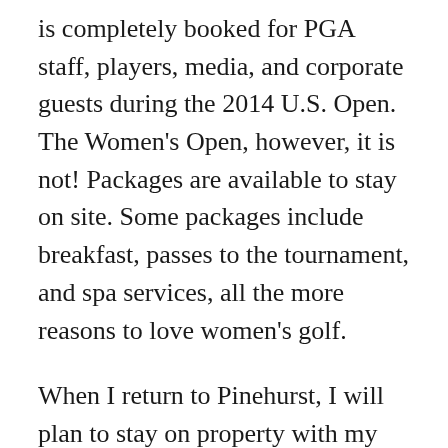is completely booked for PGA staff, players, media, and corporate guests during the 2014 U.S. Open. The Women's Open, however, it is not! Packages are available to stay on site. Some packages include breakfast, passes to the tournament, and spa services, all the more reasons to love women's golf.
When I return to Pinehurst, I will plan to stay on property with my husband, as so much has changed since our first visits, nearly 20 years ago. I also want to play #2, the course for this year's Open. The treatment I wish I had had time for on my visit was The Heart and Sole treatment. It is a three-hour body treatment with a peppermint pine pedicure. Based on my